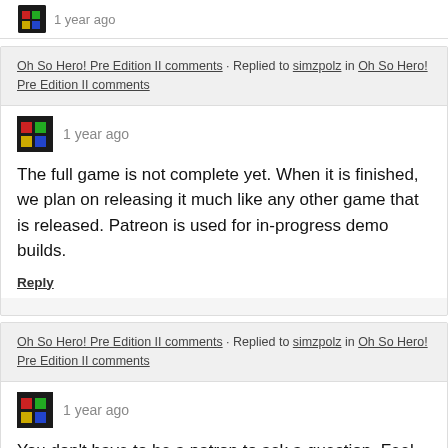1 year ago
Oh So Hero! Pre Edition II comments · Replied to simzpolz in Oh So Hero! Pre Edition II comments
1 year ago
The full game is not complete yet. When it is finished, we plan on releasing it much like any other game that is released. Patreon is used for in-progress demo builds.
Reply
Oh So Hero! Pre Edition II comments · Replied to simzpolz in Oh So Hero! Pre Edition II comments
1 year ago
You don't have to be a patron to ask a question. Feel free to ask anything you want and we will try to answer when we